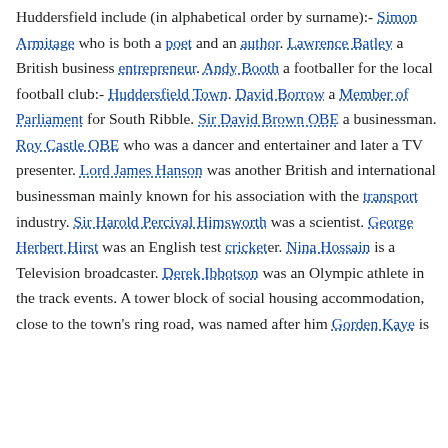Huddersfield include (in alphabetical order by surname):- Simon Armitage who is both a poet and an author. Lawrence Batley a British business entrepreneur. Andy Booth a footballer for the local football club:- Huddersfield Town. David Borrow a Member of Parliament for South Ribble. Sir David Brown OBE a businessman. Roy Castle OBE who was a dancer and entertainer and later a TV presenter. Lord James Hanson was another British and international businessman mainly known for his association with the transport industry. Sir Harold Percival Himsworth was a scientist. George Herbert Hirst was an English test cricketer. Nina Hossain is a Television broadcaster. Derek Ibbotson was an Olympic athlete in the track events. A tower block of social housing accommodation, close to the town's ring road, was named after him Gorden Kaye is